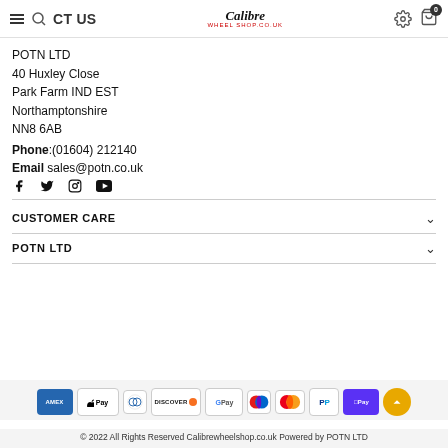CONTACT US — Calibre Wheel Shop — settings and cart icons
POTN LTD
40 Huxley Close
Park Farm IND EST
Northamptonshire
NN8 6AB
Phone:(01604) 212140
Email sales@potn.co.uk
[Figure (infographic): Social media icons: Facebook, Twitter, Instagram, YouTube]
CUSTOMER CARE
POTN LTD
[Figure (infographic): Payment method icons: American Express, Apple Pay, Diners Club, Discover, Google Pay, Maestro, Mastercard, PayPal, Shopify Pay, and scroll-to-top button]
© 2022 All Rights Reserved Calibrewheelshop.co.uk Powered by POTN LTD